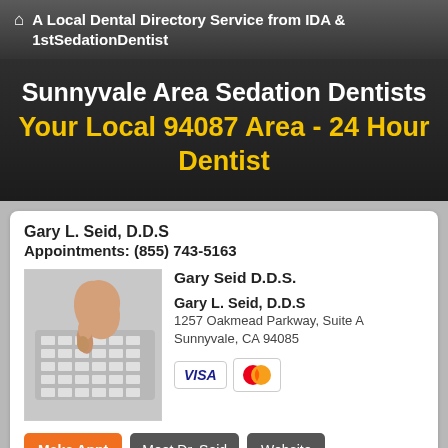A Local Dental Directory Service from IDA & 1stSedationDentist
Sunnyvale Area Sedation Dentists
Your Local 94087 Area - 24 Hour Dentist
Gary L. Seid, D.D.S
Appointments: (855) 743-5163
[Figure (photo): Person dialing a telephone keypad]
Gary Seid D.D.S.
Gary L. Seid, D.D.S
1257 Oakmead Parkway, Suite A
Sunnyvale, CA 94085
[Figure (infographic): VISA and MasterCard payment badges]
Make Appt   Meet Dr. Seid   Website
more info ...